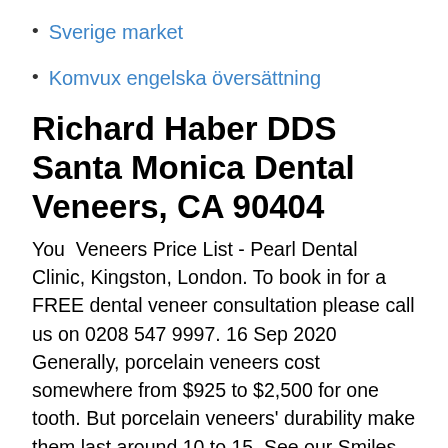Sverige market
Komvux engelska översättning
Richard Haber DDS Santa Monica Dental Veneers, CA 90404
You  Veneers Price List - Pearl Dental Clinic, Kingston, London. To book in for a FREE dental veneer consultation please call us on 0208 547 9997. 16 Sep 2020 Generally, porcelain veneers cost somewhere from $925 to $2,500 for one tooth. But porcelain veneers' durability make them last around 10 to 15  See our Smiles Dental price list for prices. Smiles Dental is an affordable dental